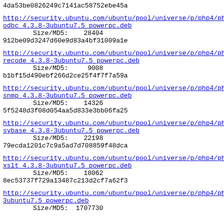4da53be0826249c7141ac58752ebe45a
http://security.ubuntu.com/ubuntu/pool/universe/p/php4/ph odbc_4.3.8-3ubuntu7.5_powerpc.deb
        Size/MD5:    28404
912be09d3247d60e9d83a4bf31009a1e
http://security.ubuntu.com/ubuntu/pool/universe/p/php4/ph recode_4.3.8-3ubuntu7.5_powerpc.deb
        Size/MD5:     9008
b1bf15d490ebf266d2ce25f4f7f7a59a
http://security.ubuntu.com/ubuntu/pool/universe/p/php4/ph snmp_4.3.8-3ubuntu7.5_powerpc.deb
        Size/MD5:    14326
5f5248d3f08d054aa5d833e3bb06fa25
http://security.ubuntu.com/ubuntu/pool/universe/p/php4/ph sybase_4.3.8-3ubuntu7.5_powerpc.deb
        Size/MD5:    22198
79ecda1201c7c9a5ad7d708859f48dca
http://security.ubuntu.com/ubuntu/pool/universe/p/php4/ph xslt_4.3.8-3ubuntu7.5_powerpc.deb
        Size/MD5:    18062
8ec53737f729a13487c213d2cf7a62f3
http://security.ubuntu.com/ubuntu/pool/universe/p/php4/ph 3ubuntu7.5_powerpc.deb
        Size/MD5:  1707730